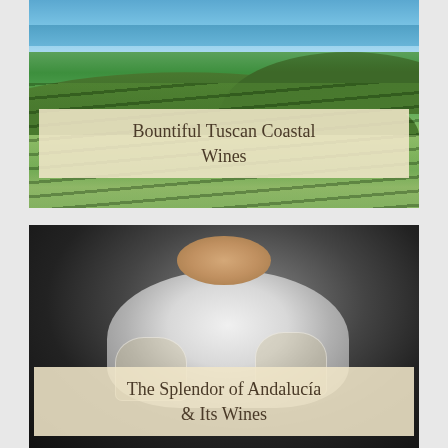[Figure (photo): Aerial view of Tuscan coastal vineyard with rows of grapevines on rolling green hills, blue sea and mountains in the background]
Bountiful Tuscan Coastal Wines
[Figure (photo): A sommelier or chef in white coat leaning over two glasses of white wine, smelling and evaluating the wines against a dark background]
The Splendor of Andalucía & Its Wines